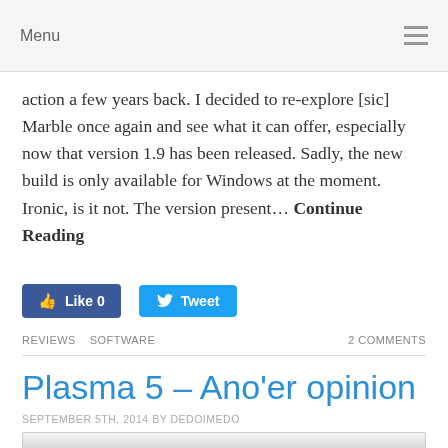Menu
action a few years back. I decided to re-explore [sic] Marble once again and see what it can offer, especially now that version 1.9 has been released. Sadly, the new build is only available for Windows at the moment. Ironic, is it not. The version present… Continue Reading
Like 0   Tweet
REVIEWS   SOFTWARE   2 COMMENTS
Plasma 5 – Ano'er opinion
SEPTEMBER 5TH, 2014 BY DEDOIMEDO
[Figure (screenshot): Screenshot of a desktop environment, partially visible at the bottom of the page]